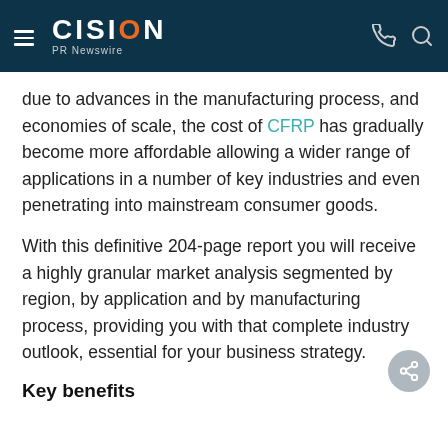CISION PR Newswire
due to advances in the manufacturing process, and economies of scale, the cost of CFRP has gradually become more affordable allowing a wider range of applications in a number of key industries and even penetrating into mainstream consumer goods.
With this definitive 204-page report you will receive a highly granular market analysis segmented by region, by application and by manufacturing process, providing you with that complete industry outlook, essential for your business strategy.
Key benefits